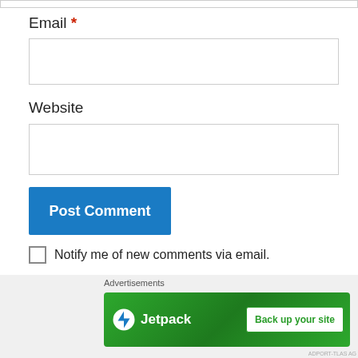Email *
[Figure (screenshot): Empty email input text field]
Website
[Figure (screenshot): Empty website input text field]
[Figure (screenshot): Post Comment button (blue)]
Notify me of new comments via email.
Notify me of new posts via email.
Advertisements
[Figure (screenshot): Jetpack advertisement banner with 'Back up your site' button]